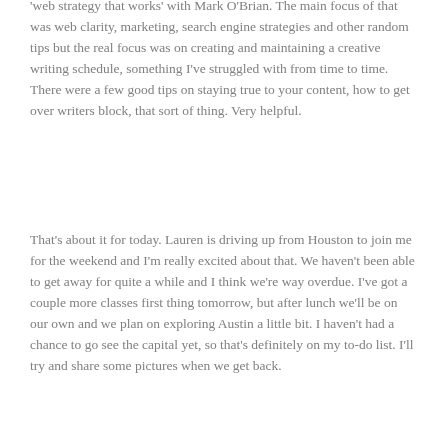'web strategy that works' with Mark O'Brian. The main focus of that was web clarity, marketing, search engine strategies and other random tips but the real focus was on creating and maintaining a creative writing schedule, something I've struggled with from time to time. There were a few good tips on staying true to your content, how to get over writers block, that sort of thing. Very helpful.
That's about it for today. Lauren is driving up from Houston to join me for the weekend and I'm really excited about that. We haven't been able to get away for quite a while and I think we're way overdue. I've got a couple more classes first thing tomorrow, but after lunch we'll be on our own and we plan on exploring Austin a little bit. I haven't had a chance to go see the capital yet, so that's definitely on my to-do list. I'll try and share some pictures when we get back.